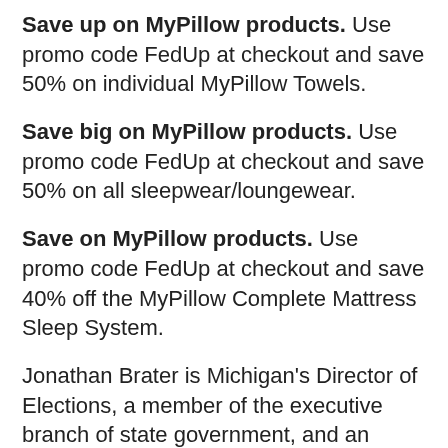Save up on MyPillow products. Use promo code FedUp at checkout and save 50% on individual MyPillow Towels.
Save big on MyPillow products. Use promo code FedUp at checkout and save 50% on all sleepwear/loungewear.
Save on MyPillow products. Use promo code FedUp at checkout and save 40% off the MyPillow Complete Mattress Sleep System.
Jonathan Brater is Michigan's Director of Elections, a member of the executive branch of state government, and an employee of the state. As director of elections, Mr. Brater is